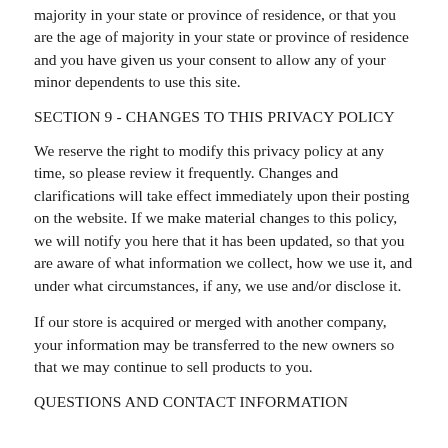majority in your state or province of residence, or that you are the age of majority in your state or province of residence and you have given us your consent to allow any of your minor dependents to use this site.
SECTION 9 - CHANGES TO THIS PRIVACY POLICY
We reserve the right to modify this privacy policy at any time, so please review it frequently. Changes and clarifications will take effect immediately upon their posting on the website. If we make material changes to this policy, we will notify you here that it has been updated, so that you are aware of what information we collect, how we use it, and under what circumstances, if any, we use and/or disclose it.
If our store is acquired or merged with another company, your information may be transferred to the new owners so that we may continue to sell products to you.
QUESTIONS AND CONTACT INFORMATION